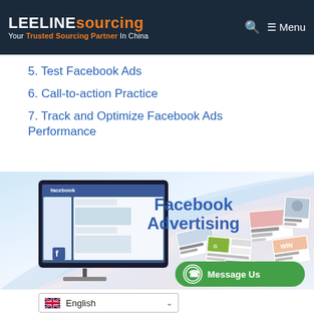LEELINE sourcing — Your Trusted Sourcing Partner In China | Menu
5. Test Facebook Ads
6. Call-to-action Practice
7. Track and Optimize Facebook Ads Performance
[Figure (illustration): Facebook Advertising promotional image showing a desktop monitor displaying the Facebook interface, with various ad cards flying out, and the text 'Facebook Advertising' in large blue letters on a light gradient background. A green 'Message Us' WhatsApp button overlays the bottom right.]
English